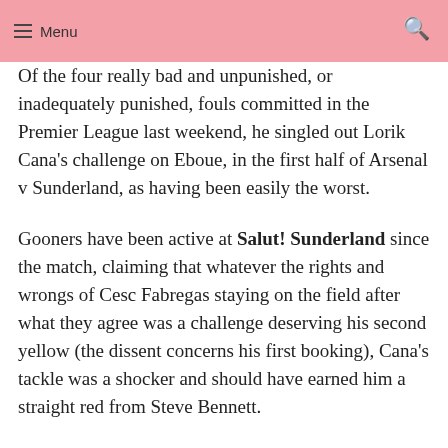Menu
Of the four really bad and unpunished, or inadequately punished, fouls committed in the Premier League last weekend, he singled out Lorik Cana's challenge on Eboue, in the first half of Arsenal v Sunderland, as having been easily the worst.
Gooners have been active at Salut! Sunderland since the match, claiming that whatever the rights and wrongs of Cesc Fabregas staying on the field after what they agree was a challenge deserving his second yellow (the dissent concerns his first booking), Cana's tackle was a shocker and should have earned him a straight red from Steve Bennett.
They Daily Mail stated this: "As a result to...